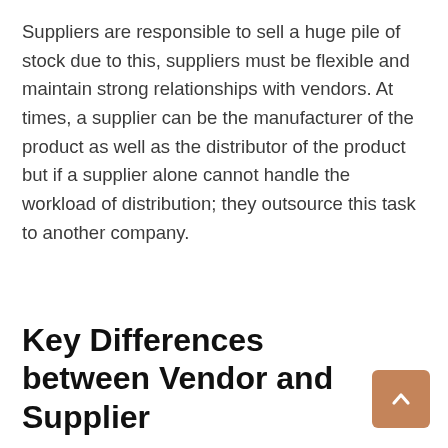Suppliers are responsible to sell a huge pile of stock due to this, suppliers must be flexible and maintain strong relationships with vendors. At times, a supplier can be the manufacturer of the product as well as the distributor of the product but if a supplier alone cannot handle the workload of distribution; they outsource this task to another company.
Key Differences between Vendor and Supplier